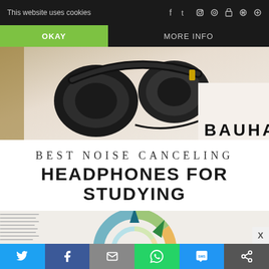This website uses cookies   f  t  instagram  pinterest  lock  search
OKAY   MORE INFO
[Figure (photo): Overhead photo of black over-ear headphones with cable on a light surface, with partial text 'BAUHAUS' visible]
BEST NOISE CANCELING HEADPHONES FOR STUDYING
[Figure (photo): Open book with a colorful geometric star/compass design on the page, teal and red hues]
Twitter share | Facebook share | Email | WhatsApp | SMS | More sharing options